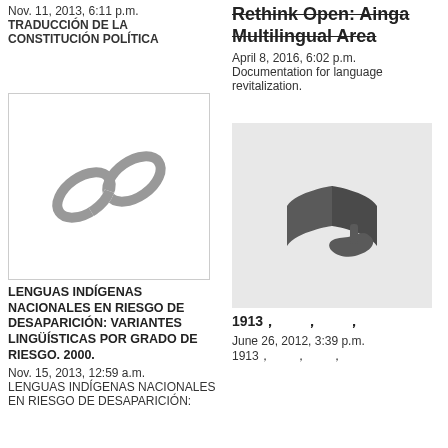Nov. 11, 2013, 6:11 p.m.
TRADUCCIÓN DE LA CONSTITUCIÓN POLÍTICA
Rethink Open: Ainga Multilingual Area
April 8, 2016, 6:02 p.m.
Documentation for language revitalization.
[Figure (illustration): Chain link icon in gray outline style on white background with border]
[Figure (illustration): Book with hand/finger icon in dark gray on light gray background]
LENGUAS INDÍGENAS NACIONALES EN RIESGO DE DESAPARICIÓN: VARIANTES LINGÜÍSTICAS POR GRADO DE RIESGO. 2000.
1913，，，
Nov. 15, 2013, 12:59 a.m.
LENGUAS INDÍGENAS NACIONALES EN RIESGO DE DESAPARICIÓN:
June 26, 2012, 3:39 p.m.
1913，，，